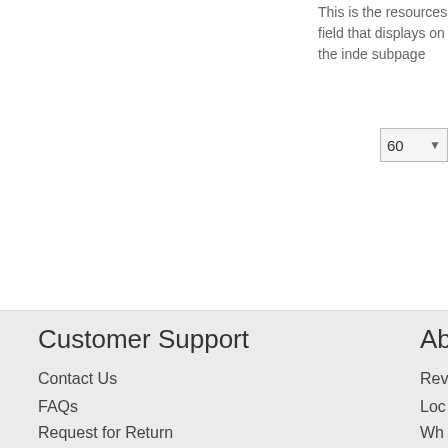This is the resources field that displays on the inde subpage
[Figure (screenshot): Dropdown selector showing value 60]
Customer Support
Contact Us
FAQs
Request for Return
contact@hawkusa.com
800.843.4295
Ab
Rev
Loc
Wh